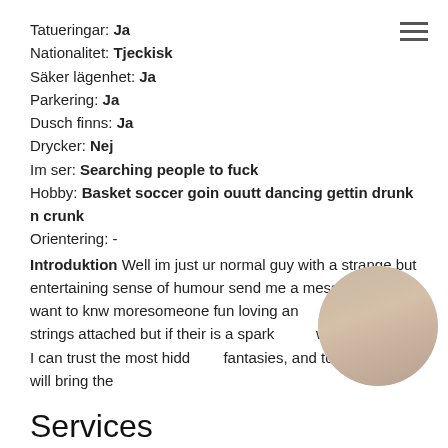Tatueringar: Ja
Nationalitet: Tjeckisk
Säker lägenhet: Ja
Parkering: Ja
Dusch finns: Ja
Drycker: Nej
Im ser: Searching people to fuck
Hobby: Basket soccer goin ouutt dancing gettin drunk n crunk
Orientering: -
Introduktion Well im just ur normal guy with a strange but entertaining sense of humour send me a message if u want to knw moresomeone fun loving an ible no strings attached but if their is a spark what happens. I can trust the most hidd fantasies, and together we will bring the
[Figure (photo): Circular cropped photo of a person]
Services